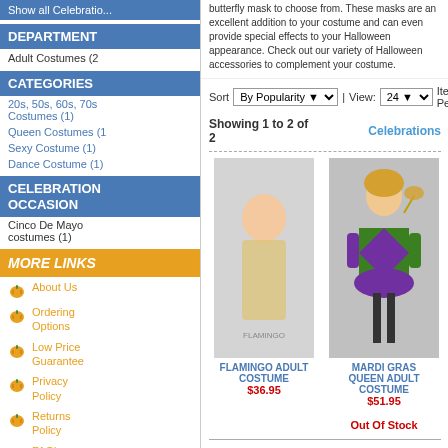Show all Celebrations
DEPARTMENT
Adult Costumes (2)
CATEGORIES
20s, 50s, 60s, 70s Costumes (1)
Queen Costumes (1)
Sexy Costume (1)
Dance Costume (1)
CELEBRATION OCCASION
Cinco De Mayo costumes (1)
MORE LINKS
About Us
Ordering Options
Low Price Guarantee
Privacy Policy
Returns Policy
FAQ's
View Wishlist
butterfly mask to choose from. These masks are an excellent addition to your costume and can even provide special effects to your Halloween appearance. Check out our variety of Halloween accessories to complement your costume.
Sort  By Popularity  |  View: 24  Items Per Page
Showing 1 to 2 of 2
Celebrations
[Figure (photo): Mardi Gras Queen Adult Costume - woman in purple and green harlequin dress with mask on a stick]
FLAMINGO ADULT COSTUME
$36.95
MARDI GRAS QUEEN ADULT COSTUME
$51.95
Out Of Stock
Showing 1 to 2 of 2